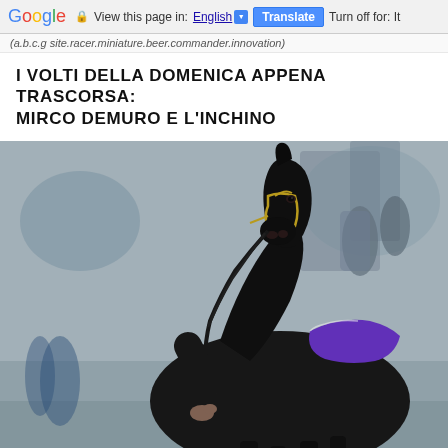Google  View this page in: English [▼]  Translate  Turn off for: It...
(a.b.c.g site.racer.miniature.beer.commander.innovation)
I VOLTI DELLA DOMENICA APPENA TRASCORSA: MIRCO DEMURO E L'INCHINO
[Figure (photo): Close-up photograph of a dark black horse wearing a gold bridle and purple racing saddle cloth, being led by a person in a dark jacket holding the reins. The background is blurred showing a racecourse environment.]